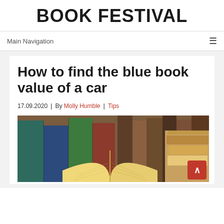BOOK FESTIVAL
Main Navigation
How to find the blue book value of a car
17.09.2020 | By Molly Humble | Tips
[Figure (photo): Stack of colorful books with an open book in the foreground, against a background of more books on shelves]